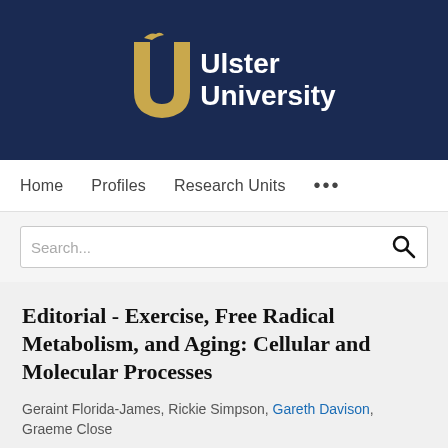[Figure (logo): Ulster University logo with gold U symbol and white text on dark navy background]
Home   Profiles   Research Units   ...
Search...
Editorial - Exercise, Free Radical Metabolism, and Aging: Cellular and Molecular Processes
Geraint Florida-James, Rickie Simpson, Gareth Davison, Graeme Close